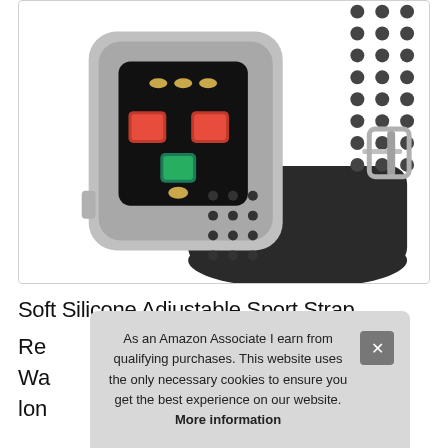[Figure (photo): Back of a Fitbit Ionic smartwatch showing the optical heart rate sensor with red LEDs and charging contacts, with a black perforated silicone sport band and silver buckle.]
Soft Silicone Adjustable Sport Strap
Re... Wa... lon...
As an Amazon Associate I earn from qualifying purchases. This website uses the only necessary cookies to ensure you get the best experience on our website. More information